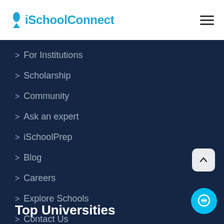iSchoolConnect
> For Institutions
> Scholarship
> Community
> Ask an expert
> iSchoolPrep
> Blog
> Careers
> Explore Schools
> Contact Us
Top Universities